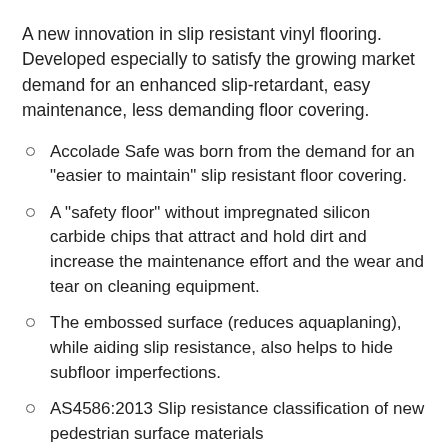A new innovation in slip resistant vinyl flooring. Developed especially to satisfy the growing market demand for an enhanced slip-retardant, easy maintenance, less demanding floor covering.
Accolade Safe was born from the demand for an "easier to maintain" slip resistant floor covering.
A "safety floor" without impregnated silicon carbide chips that attract and hold dirt and increase the maintenance effort and the wear and tear on cleaning equipment.
The embossed surface (reduces aquaplaning), while aiding slip resistance, also helps to hide subfloor imperfections.
AS4586:2013 Slip resistance classification of new pedestrian surface materials
P3 (X) wet pendulum
B – wet bare foot inclining platform